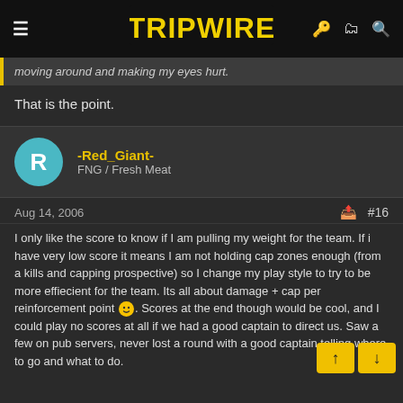Tripwire Interactive Forums
moving around and making my eyes hurt.
That is the point.
-Red_Giant- FNG / Fresh Meat
Aug 14, 2006 #16
I only like the score to know if I am pulling my weight for the team. If i have very low score it means I am not holding cap zones enough (from a kills and capping prospective) so I change my play style to try to be more effiecient for the team. Its all about damage + cap per reinforcement point. Scores at the end though would be cool, and I could play no scores at all if we had a good captain to direct us. Saw a few on pub servers, never lost a round with a good captain telling where to go and what to do.